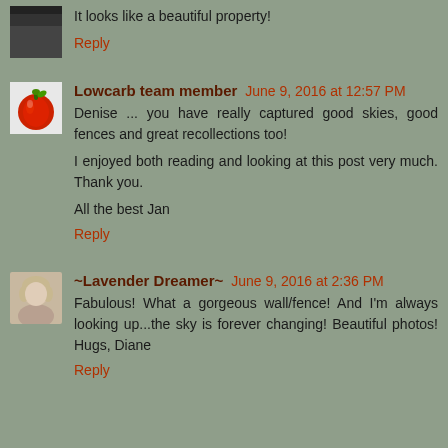It looks like a beautiful property!
Reply
Lowcarb team member  June 9, 2016 at 12:57 PM
Denise ... you have really captured good skies, good fences and great recollections too!
I enjoyed both reading and looking at this post very much. Thank you.
All the best Jan
Reply
~Lavender Dreamer~  June 9, 2016 at 2:36 PM
Fabulous! What a gorgeous wall/fence! And I'm always looking up...the sky is forever changing! Beautiful photos! Hugs, Diane
Reply